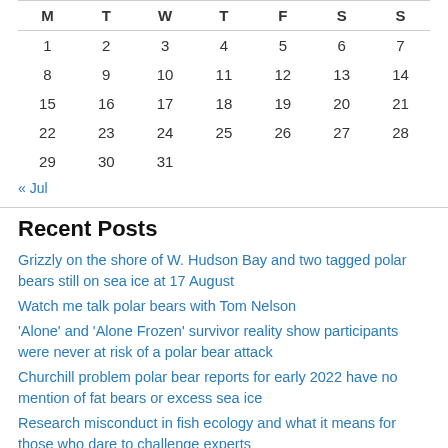| M | T | W | T | F | S | S |
| --- | --- | --- | --- | --- | --- | --- |
| 1 | 2 | 3 | 4 | 5 | 6 | 7 |
| 8 | 9 | 10 | 11 | 12 | 13 | 14 |
| 15 | 16 | 17 | 18 | 19 | 20 | 21 |
| 22 | 23 | 24 | 25 | 26 | 27 | 28 |
| 29 | 30 | 31 |  |  |  |  |
« Jul
Recent Posts
Grizzly on the shore of W. Hudson Bay and two tagged polar bears still on sea ice at 17 August
Watch me talk polar bears with Tom Nelson
'Alone' and 'Alone Frozen' survivor reality show participants were never at risk of a polar bear attack
Churchill problem polar bear reports for early 2022 have no mention of fat bears or excess sea ice
Research misconduct in fish ecology and what it means for those who dare to challenge experts